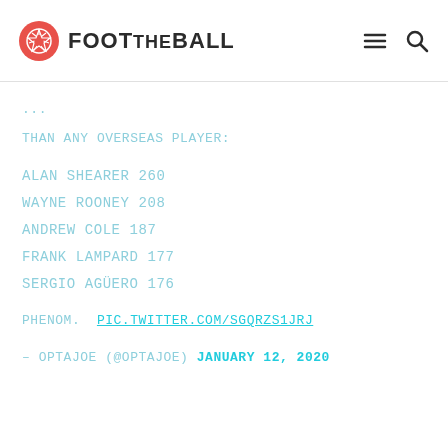FOOT THE BALL
THAN ANY OVERSEAS PLAYER:
ALAN SHEARER 260
WAYNE ROONEY 208
ANDREW COLE 187
FRANK LAMPARD 177
SERGIO AGÜERO 176
PHENOM. PIC.TWITTER.COM/SGQRZS1JRJ
— OPTAJOE (@OPTAJOE) JANUARY 12, 2020